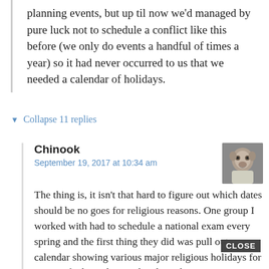planning events, but up til now we'd managed by pure luck not to schedule a conflict like this before (we only do events a handful of times a year) so it had never occurred to us that we needed a calendar of holidays.
▼ Collapse 11 replies
Chinook
September 19, 2017 at 10:34 am
The thing is, it isn't that hard to figure out which dates should be no goes for religious reasons. One group I worked with had to schedule a national exam every spring and the first thing they did was pull out a calendar showing various major religious holidays for various faiths and immediately X them out. True, you then narrow your window of acceptable dates greatly (which created headaches for booking facilities), but if
CLOSE